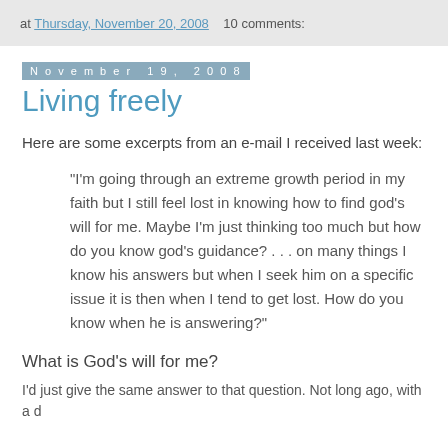at Thursday, November 20, 2008   10 comments:
November 19, 2008
Living freely
Here are some excerpts from an e-mail I received last week:
“I'm going through an extreme growth period in my faith but I still feel lost in knowing how to find god's will for me. Maybe I'm just thinking too much but how do you know god's guidance? . . . on many things I know his answers but when I seek him on a specific issue it is then when I tend to get lost. How do you know when he is answering?”
What is God’s will for me?
I’d just give the same answer to that question. Not long ago, with a d